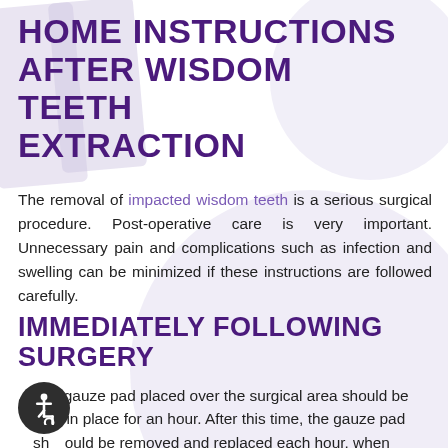HOME INSTRUCTIONS AFTER WISDOM TEETH EXTRACTION
The removal of impacted wisdom teeth is a serious surgical procedure. Post-operative care is very important. Unnecessary pain and complications such as infection and swelling can be minimized if these instructions are followed carefully.
IMMEDIATELY FOLLOWING SURGERY
The gauze pad placed over the surgical area should be kept in place for an hour. After this time, the gauze pad should be removed and replaced each hour, when bleeding continues.